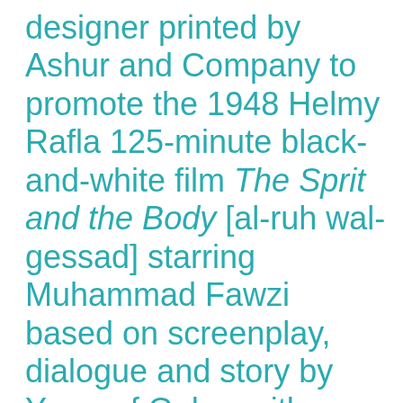designer printed by Ashur and Company to promote the 1948 Helmy Rafla 125-minute black-and-white film The Sprit and the Body [al-ruh wal-gessad] starring Muhammad Fawzi based on screenplay, dialogue and story by Youssef Gohar with cinematography by Bruno Salvi. The film was produced by Muhammad Fawzi Films and distributeb by Montakhebat Behna Film. Plot summary: Two young men were quite close to each other. One was a musician and the other was a scholar and a poet. The scholar married a musician and the musician married a